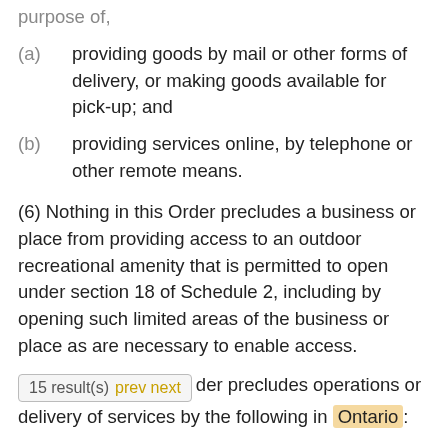purpose of,
(a)  providing goods by mail or other forms of delivery, or making goods available for pick-up; and
(b)  providing services online, by telephone or other remote means.
(6) Nothing in this Order precludes a business or place from providing access to an outdoor recreational amenity that is permitted to open under section 18 of Schedule 2, including by opening such limited areas of the business or place as are necessary to enable access.
...der precludes operations or delivery of services by the following in Ontario: